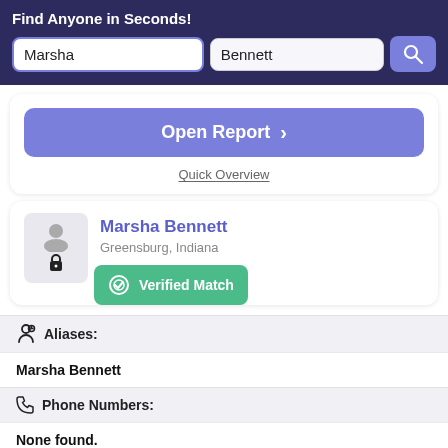Find Anyone in Seconds!
Marsha
Bennett
Open Report >
Quick Overview
Marsha Bennett
Greensburg, Indiana
Verified Match
Aliases:
Marsha Bennett
Phone Numbers:
None found.